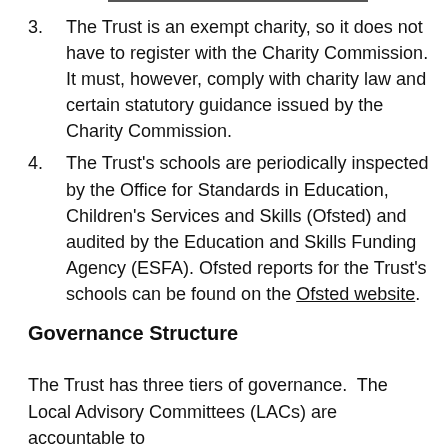3. The Trust is an exempt charity, so it does not have to register with the Charity Commission. It must, however, comply with charity law and certain statutory guidance issued by the Charity Commission.
4. The Trust's schools are periodically inspected by the Office for Standards in Education, Children's Services and Skills (Ofsted) and audited by the Education and Skills Funding Agency (ESFA). Ofsted reports for the Trust's schools can be found on the Ofsted website.
Governance Structure
The Trust has three tiers of governance.  The Local Advisory Committees (LACs) are accountable to